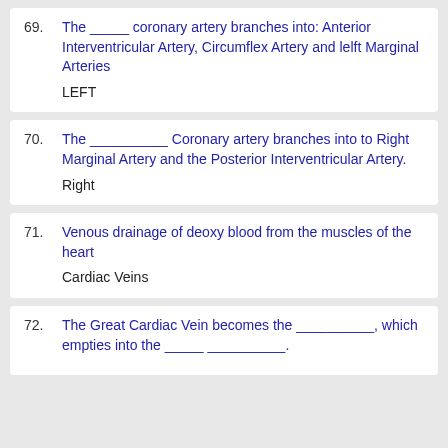69. The _____ coronary artery branches into: Anterior Interventricular Artery, Circumflex Artery and lelft Marginal Arteries
LEFT
70. The __________ Coronary artery branches into to Right Marginal Artery and the Posterior Interventricular Artery.
Right
71. Venous drainage of deoxy blood from the muscles of the heart
Cardiac Veins
72. The Great Cardiac Vein becomes the __________, which empties into the _____ __________.